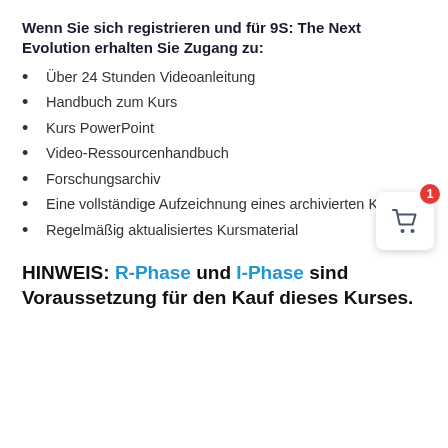Wenn Sie sich registrieren und für 9S: The Next Evolution erhalten Sie Zugang zu:
Über 24 Stunden Videoanleitung
Handbuch zum Kurs
Kurs PowerPoint
Video-Ressourcenhandbuch
Forschungsarchiv
Eine vollständige Aufzeichnung eines archivierten Kurses
Regelmäßig aktualisiertes Kursmaterial
HINWEIS: R-Phase und I-Phase sind Voraussetzung für den Kauf dieses Kurses.